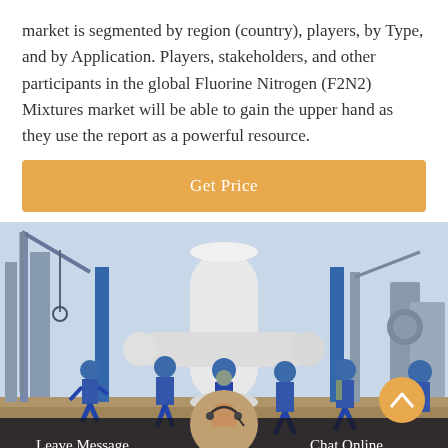market is segmented by region (country), players, by Type, and by Application. Players, stakeholders, and other participants in the global Fluorine Nitrogen (F2N2) Mixtures market will be able to gain the upper hand as they use the report as a powerful resource.
[Figure (other): Orange button bar with white text 'Get Price']
[Figure (photo): Industrial scene with workers in blue hard hats and coveralls working around large white industrial equipment/valves at an outdoor facility. Chat bar at bottom with 'Leave Message' on left, customer service avatar in center, 'Chat Online' on right, and orange scroll-to-top button.]